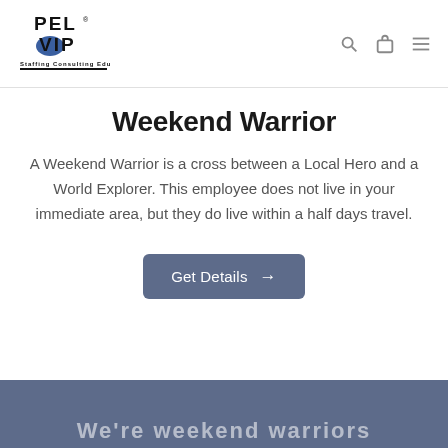[Figure (logo): PEL VIP Staffing Consulting Education logo — black bold text with blue circle accent]
Weekend Warrior
A Weekend Warrior is a cross between a Local Hero and a World Explorer. This employee does not live in your immediate area, but they do live within a half days travel.
Get Details →
We're weekend warriors